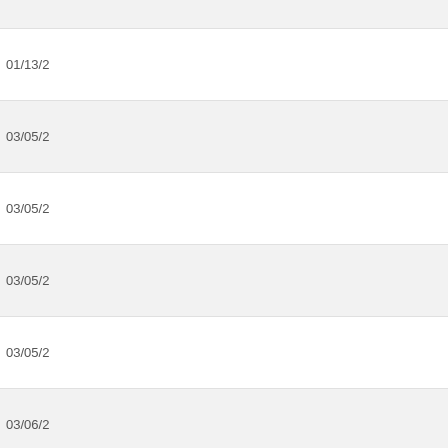| Date |
| --- |
|  |
| 01/13/2... |
| 03/05/2... |
| 03/05/2... |
| 03/05/2... |
| 03/05/2... |
| 03/06/2... |